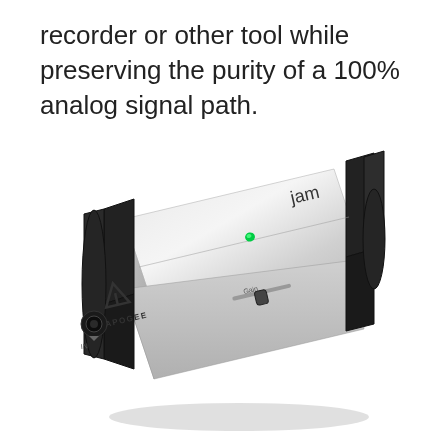recorder or other tool while preserving the purity of a 100% analog signal path.
[Figure (photo): Apogee JAM guitar interface device — a silver/chrome rectangular unit with black rubber end caps, showing the Apogee logo and 'jam' text on top, a green LED indicator, a Gain slider on the side, and a 1/4-inch input jack on the front face labeled 'IN'.]